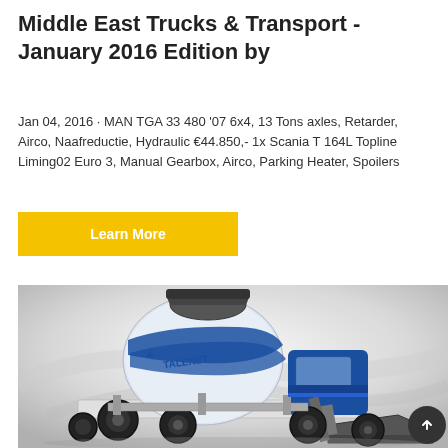Middle East Trucks & Transport - January 2016 Edition by
Jan 04, 2016 · MAN TGA 33 480 '07 6x4, 13 Tons axles, Retarder, Airco, Naafreductie, Hydraulic €44.850,- 1x Scania T 164L Topline Liming02 Euro 3, Manual Gearbox, Airco, Parking Heater, Spoilers
Learn More
[Figure (photo): A blue and white TALENET self-loading concrete mixer truck on a light grey background]